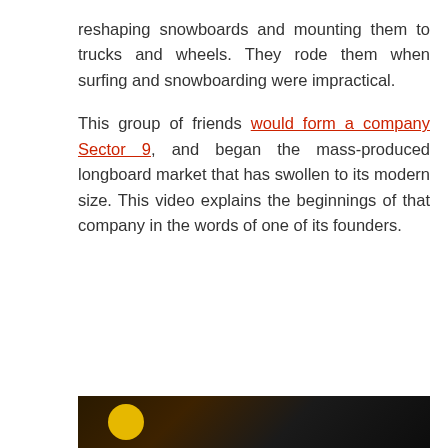reshaping snowboards and mounting them to trucks and wheels. They rode them when surfing and snowboarding were impractical.
This group of friends would form a company Sector 9, and began the mass-produced longboard market that has swollen to its modern size. This video explains the beginnings of that company in the words of one of its founders.
[Figure (photo): Dark photo strip at the bottom of the page, partially visible, showing a figure with a yellow circular element against a dark background.]